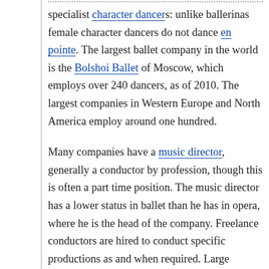specialist character dancers: unlike ballerinas female character dancers do not dance en pointe. The largest ballet company in the world is the Bolshoi Ballet of Moscow, which employs over 240 dancers, as of 2010. The largest companies in Western Europe and North America employ around one hundred.
Many companies have a music director, generally a conductor by profession, though this is often a part time position. The music director has a lower status in ballet than he has in opera, where he is the head of the company. Freelance conductors are hired to conduct specific productions as and when required. Large companies have their own orchestra, which is often shared with an opera company resident in the same theatre or opera house. Small...